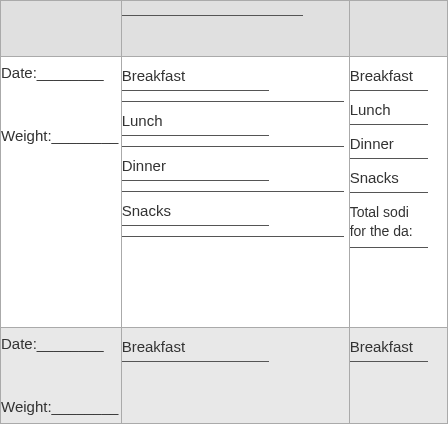| Date/Weight | Food Log | Summary |
| --- | --- | --- |
| Date:___ Weight:___ | Breakfast
___
___
Lunch
___
___
Dinner
___
___
Snacks
___
___ | Breakfast
___
Lunch
___
Dinner
___
Snacks
___
Total sodium for the day
___ |
| Date:___ Weight:___ | Breakfast
___ | Breakfast
___ |